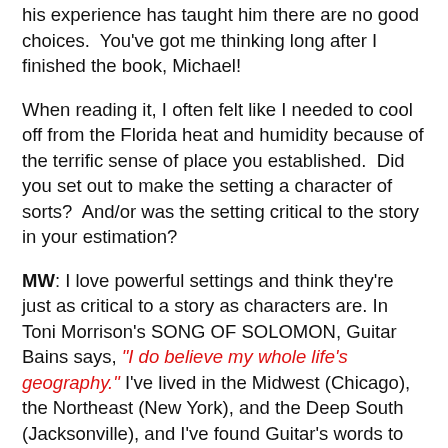his experience has taught him there are no good choices.  You've got me thinking long after I finished the book, Michael!
When reading it, I often felt like I needed to cool off from the Florida heat and humidity because of the terrific sense of place you established.  Did you set out to make the setting a character of sorts?  And/or was the setting critical to the story in your estimation?
MW: I love powerful settings and think they're just as critical to a story as characters are. In Toni Morrison's SONG OF SOLOMON, Guitar Bains says, “I do believe my whole life’s geography.” I've lived in the Midwest (Chicago), the Northeast (New York), and the Deep South (Jacksonville), and I've found Guitar's words to be true to my life. I've also found that other writers' fictional settings thoroughly color my reading experiences and even color my experiences of real places when I visit them. When I